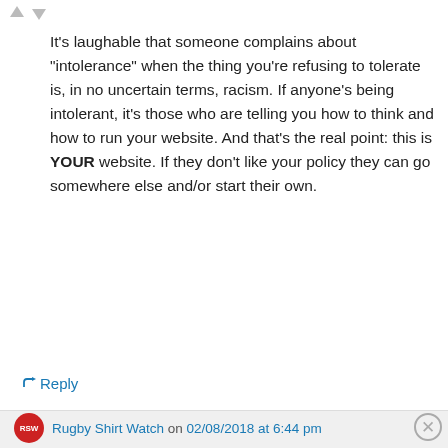[Figure (other): Vote up/down arrows at top left]
It’s laughable that someone complains about “intolerance” when the thing you’re refusing to tolerate is, in no uncertain terms, racism. If anyone’s being intolerant, it’s those who are telling you how to think and how to run your website. And that’s the real point: this is YOUR website. If they don’t like your policy they can go somewhere else and/or start their own.
↳ Reply
Rugby Shirt Watch on 02/08/2018 at 6:44 pm
[Figure (other): Advertisement banner: Plan 2 logo with text 'Fewer meetings, more work.']